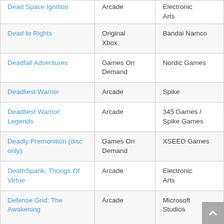| Game | Platform | Publisher |
| --- | --- | --- |
| Dead Space Ignition | Arcade | Electronic Arts |
| Dead to Rights | Original Xbox | Bandai Namco |
| Deadfall Adventures | Games On Demand | Nordic Games |
| Deadliest Warrior | Arcade | Spike |
| Deadliest Warrior: Legends | Arcade | 345 Games / Spike Games |
| Deadly Premonition (disc only) | Games On Demand | XSEED Games |
| DeathSpank: Thongs Of Virtue | Arcade | Electronic Arts |
| Defense Grid: The Awakening | Arcade | Microsoft Studios |